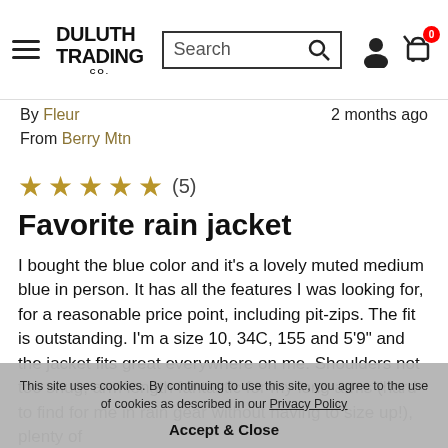[Figure (logo): Duluth Trading Co logo with hamburger menu and search bar and cart icons]
By Fleur   2 months ago
From Berry Mtn
[Figure (other): 5 gold stars rating (5)]
Favorite rain jacket
I bought the blue color and it's a lovely muted medium blue in person. It has all the features I was looking for, for a reasonable price point, including pit-zips. The fit is outstanding. I'm a size 10, 34C, 155 and 5'9" and the jacket fits great everywhere on me. Shoulders not too snug, arm length fantastic for my long arms (hard to find for me in rain gear without having to size up!), plenty of
This site uses cookies. By continuing to use this site, you agree to the use of cookies as described in our Privacy Policy
Accept & Close